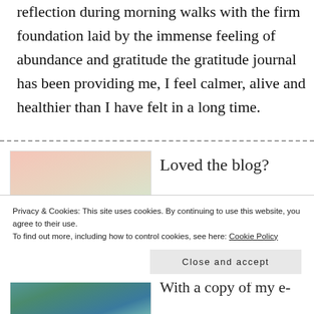reflection during morning walks with the firm foundation laid by the immense feeling of abundance and gratitude the gratitude journal has been providing me, I feel calmer, alive and healthier than I have felt in a long time.
Loved the blog?
[Figure (photo): Blurred pastel-colored image, pinkish and peach tones]
Privacy & Cookies: This site uses cookies. By continuing to use this website, you agree to their use.
To find out more, including how to control cookies, see here: Cookie Policy
Close and accept
[Figure (photo): Blurred teal and green colored image]
With a copy of my e-